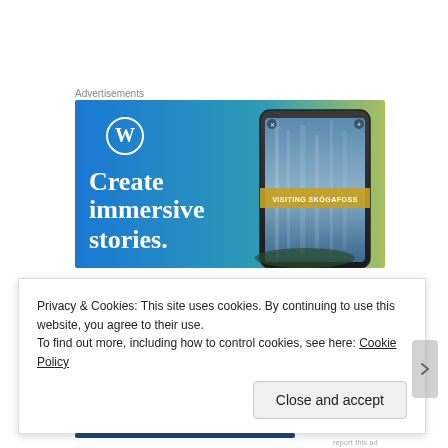Advertisements
[Figure (illustration): WordPress advertisement banner with blue-to-green gradient background, WordPress logo (W in circle), text 'Create immersive stories.' on left, and a smartphone showing waterfall photo labeled 'VISITING SKOGAFOSS' on the right.]
Privacy & Cookies: This site uses cookies. By continuing to use this website, you agree to their use.
To find out more, including how to control cookies, see here: Cookie Policy
Close and accept